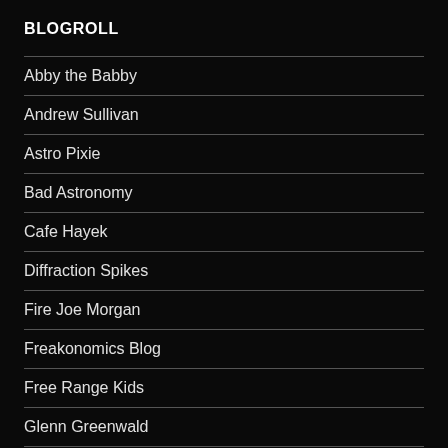BLOGROLL
Abby the Babby
Andrew Sullivan
Astro Pixie
Bad Astronomy
Cafe Hayek
Diffraction Spikes
Fire Joe Morgan
Freakonomics Blog
Free Range Kids
Glenn Greenwald